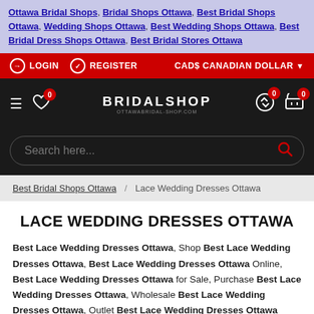Ottawa Bridal Shops, Bridal Shops Ottawa, Best Bridal Shops Ottawa, Wedding Shops Ottawa, Best Wedding Shops Ottawa, Best Bridal Dress Shops Ottawa, Best Bridal Stores Ottawa
LOGIN | REGISTER | CAD$ CANADIAN DOLLAR
BRIDALSHOP
Search here...
Best Bridal Shops Ottawa / Lace Wedding Dresses Ottawa
LACE WEDDING DRESSES OTTAWA
Best Lace Wedding Dresses Ottawa, Shop Best Lace Wedding Dresses Ottawa, Best Lace Wedding Dresses Ottawa Online, Best Lace Wedding Dresses Ottawa for Sale, Purchase Best Lace Wedding Dresses Ottawa, Wholesale Best Lace Wedding Dresses Ottawa, Outlet Best Lace Wedding Dresses Ottawa